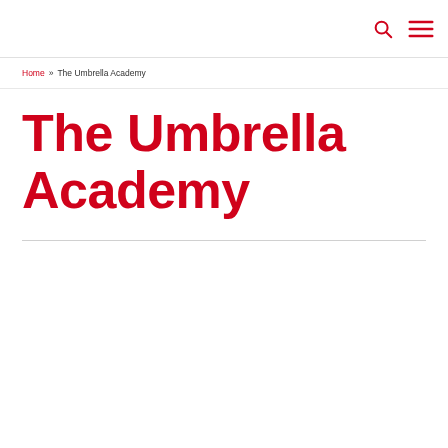Home » The Umbrella Academy
The Umbrella Academy